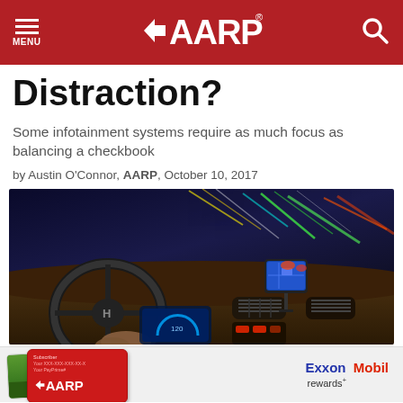MENU | AARP | [search]
Distraction?
Some infotainment systems require as much focus as balancing a checkbook
by Austin O'Connor, AARP, October 10, 2017
[Figure (photo): View from inside a car cockpit at night, driver gripping steering wheel, colorful light streaks on highway visible through windshield, dashboard with glowing blue instruments, GPS device mounted on dashboard]
[Figure (photo): Advertisement banner showing AARP credit card and Exxon Mobil rewards card]